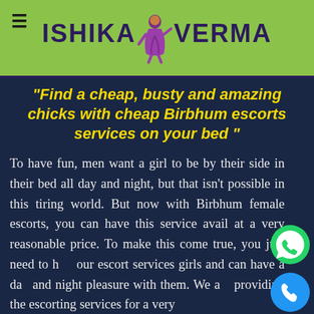ISHIKA VERMA
“Find a cheap, busty and amazing chicks with cheap Birbhum escorts services on your bed ”
To have fun, men want a girl to be by their side in their bed all day and night, but that isn't possible in this tiring world. But now with Birbhum female escorts, you can have this service avail at a very reasonable price. To make this come true, you just need to hire our escort services girls and can have a day and night pleasure with them. We are providing the escorting services for a very